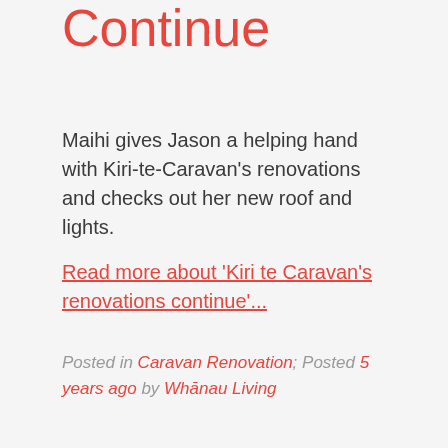Continue
Maihi gives Jason a helping hand with Kiri-te-Caravan's renovations and checks out her new roof and lights.
Read more about 'Kiri te Caravan's renovations continue'...
Posted in Caravan Renovation; Posted 5 years ago by Whānau Living